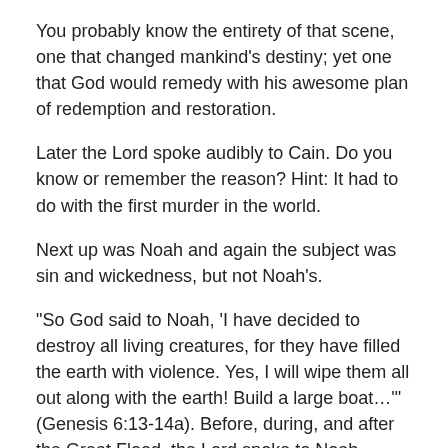You probably know the entirety of that scene, one that changed mankind’s destiny; yet one that God would remedy with his awesome plan of redemption and restoration.
Later the Lord spoke audibly to Cain. Do you know or remember the reason? Hint: It had to do with the first murder in the world.
Next up was Noah and again the subject was sin and wickedness, but not Noah’s.
“So God said to Noah, ‘I have decided to destroy all living creatures, for they have filled the earth with violence. Yes, I will wipe them all out along with the earth! Build a large boat…’” (Genesis 6:13-14a). Before, during, and after the Great Flood, the Lord spoke to Noah several times.